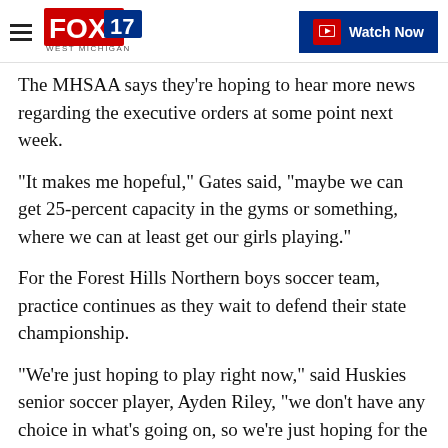FOX 17 WEST MICHIGAN | Watch Now
The MHSAA says they're hoping to hear more news regarding the executive orders at some point next week.
"It makes me hopeful," Gates said, "maybe we can get 25-percent capacity in the gyms or something, where we can at least get our girls playing."
For the Forest Hills Northern boys soccer team, practice continues as they wait to defend their state championship.
"We're just hoping to play right now," said Huskies senior soccer player, Ayden Riley, "we don't have any choice in what's going on, so we're just hoping for the best. No one is better than the school we are playing...